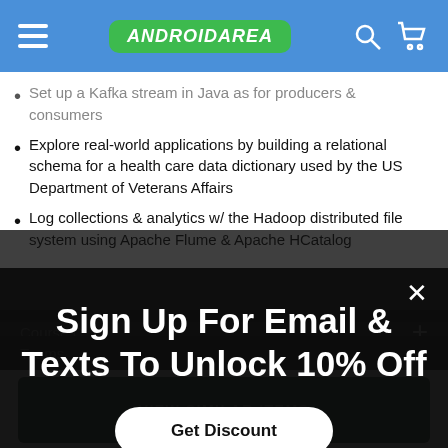ANDROIDAREA
Set up a Kafka stream in Java as for producers & consumers
Explore real-world applications by building a relational schema for a health care data dictionary used by the US Department of Veterans Affairs
Log collections & analytics w/ the Hadoop distributed file system using Apache Flume & Apache HCatalog
Course C
Sign Up For Email & Texts To Unlock 10% Off
Get Discount
Teams
VIEW SIMILAR ITEMS